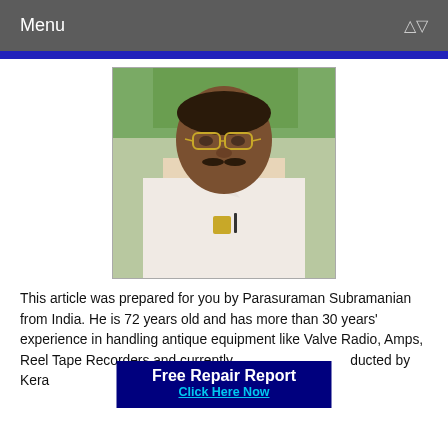Menu
[Figure (photo): Portrait photo of an elderly Indian man with a white mustache and glasses, wearing a white shirt with a badge/pin on the pocket, green foliage in the background.]
This article was prepared for you by Parasuraman Subramanian from India. He is 72 years old and has more than 30 years' experience in handling antique equipment like Valve Radio, Amps, Reel Tape Recorders and currently [ad overlaps] ducted by Kera[ad overlaps] A[cut off]
[Figure (other): Advertisement banner overlay: 'Free Repair Report' in white bold text on dark blue background, with 'Click Here Now' in cyan underlined text below.]